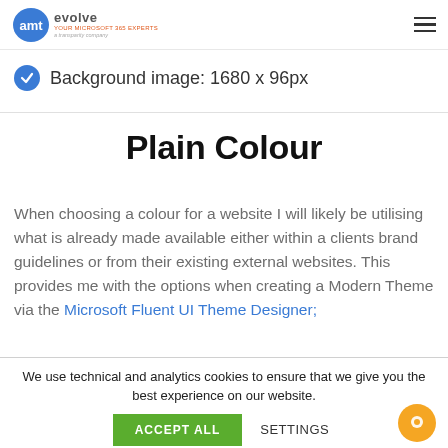amt evolve — YOUR MICROSOFT 365 EXPERTS — a transparity company
Background image: 1680 x 96px
Plain Colour
When choosing a colour for a website I will likely be utilising what is already made available either within a clients brand guidelines or from their existing external websites. This provides me with the options when creating a Modern Theme via the Microsoft Fluent UI Theme Designer;
We use technical and analytics cookies to ensure that we give you the best experience on our website.